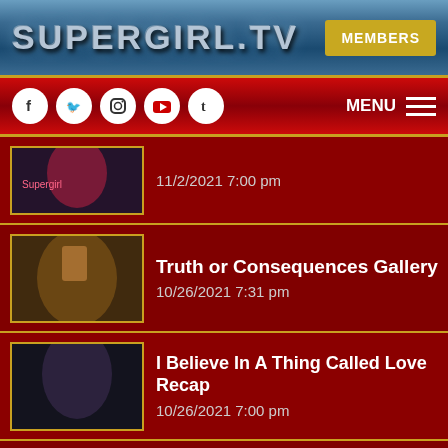SUPERGIRL.TV | MEMBERS
[Figure (screenshot): Navigation bar with social media icons (Facebook, Twitter, Instagram, YouTube, Tumblr) and MENU hamburger icon on dark red background]
11/2/2021 7:00 pm
Truth or Consequences Gallery
10/26/2021 7:31 pm
I Believe In A Thing Called Love Recap
10/26/2021 7:00 pm
The Series Finale Synopses for Supergirl
10/21/2021 3:46 pm
Nightmare in National City Recap